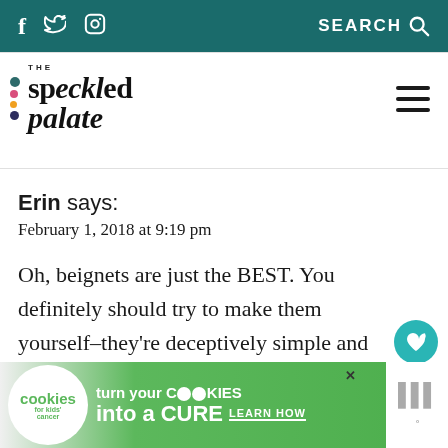f  𝛳  📷  SEARCH 🔍
[Figure (logo): The Speckled Palate logo with colorful dots and stylized text]
Erin says:
February 1, 2018 at 9:19 pm
Oh, beignets are just the BEST. You definitely should try to make them yourself–they're deceptively simple and so delicious!
[Figure (infographic): Cookies for Kids Cancer advertisement banner: turn your COOKIES into a CURE LEARN HOW]